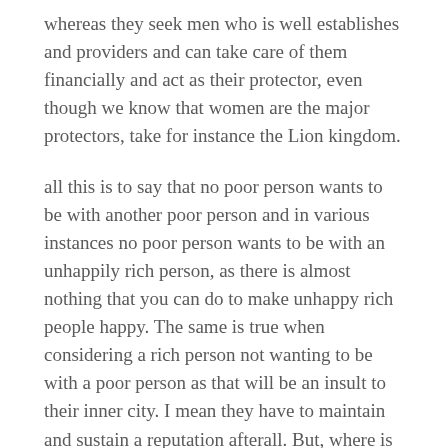whereas they seek men who is well establishes and providers and can take care of them financially and act as their protector, even though we know that women are the major protectors, take for instance the Lion kingdom.
all this is to say that no poor person wants to be with another poor person and in various instances no poor person wants to be with an unhappily rich person, as there is almost nothing that you can do to make unhappy rich people happy. The same is true when considering a rich person not wanting to be with a poor person as that will be an insult to their inner city. I mean they have to maintain and sustain a reputation afterall. But, where is the line drawn where the inferior person is simply considered arm candy, youthful, and submissive, a financially well-off mans dream come true.